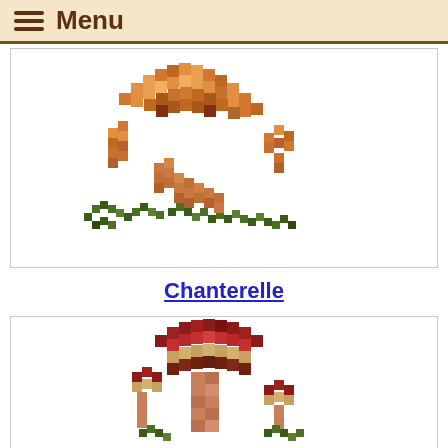≡ Menu
[Figure (illustration): Cross-stitch style illustration of chanterelle mushrooms in orange/amber tones with green leaves on a white background]
Chanterelle
[Figure (illustration): Cross-stitch style illustration of red/brown capped mushrooms with green foliage on a white background, partially visible]